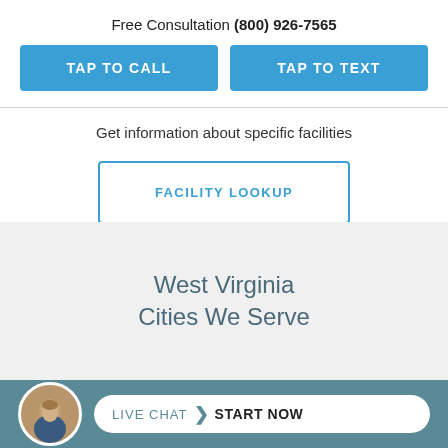Free Consultation (800) 926-7565
TAP TO CALL
TAP TO TEXT
Get information about specific facilities
FACILITY LOOKUP
West Virginia Cities We Serve
LIVE CHAT  START NOW